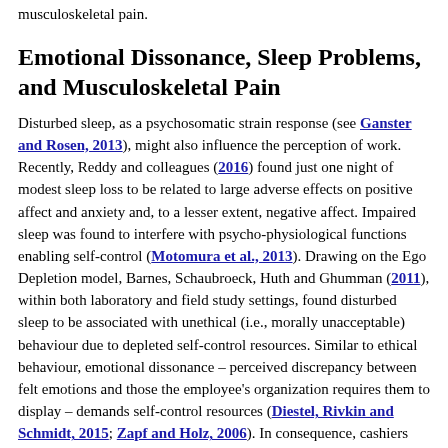musculoskeletal pain.
Emotional Dissonance, Sleep Problems, and Musculoskeletal Pain
Disturbed sleep, as a psychosomatic strain response (see Ganster and Rosen, 2013), might also influence the perception of work. Recently, Reddy and colleagues (2016) found just one night of modest sleep loss to be related to large adverse effects on positive affect and anxiety and, to a lesser extent, negative affect. Impaired sleep was found to interfere with psycho-physiological functions enabling self-control (Motomura et al., 2013). Drawing on the Ego Depletion model, Barnes, Schaubroeck, Huth and Ghumman (2011), within both laboratory and field study settings, found disturbed sleep to be associated with unethical (i.e., morally unacceptable) behaviour due to depleted self-control resources. Similar to ethical behaviour, emotional dissonance – perceived discrepancy between felt emotions and those the employee's organization requires them to display – demands self-control resources (Diestel, Rivkin and Schmidt, 2015; Zapf and Holz, 2006). In consequence, cashiers with impaired sleep might much more easily be disturbed by an unpleasant situation (Chuah et al., 2010), and even weak emotional stressors might trigger mood deterioration (Minkel et al., 2012) that might lead to emotional